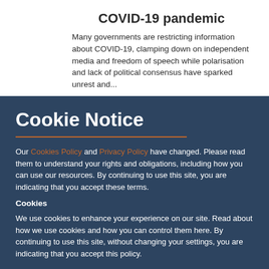COVID-19 pandemic
Many governments are restricting information about COVID-19, clamping down on independent media and freedom of speech while polarisation and lack of political consensus have sparked unrest and...
Cookie Notice
Our Cookies Policy and Privacy Policy have changed. Please read them to understand your rights and obligations, including how you can use our resources. By continuing to use this site, you are indicating that you accept these terms.
Cookies
We use cookies to enhance your experience on our site. Read about how we use cookies and how you can control them here. By continuing to use this site, without changing your settings, you are indicating that you accept this policy.
ACCEPT ALL COOKIES
SET PREFERENCES